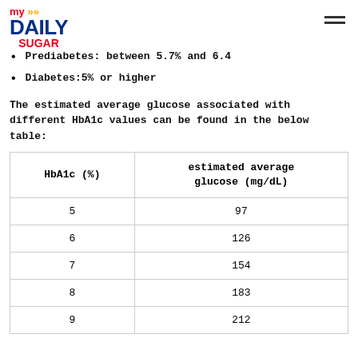my DAILY SUGAR
Prediabetes: between 5.7% and 6.4
Diabetes:5% or higher
The estimated average glucose associated with different HbA1c values can be found in the below table:
| HbA1c (%) | estimated average glucose (mg/dL) |
| --- | --- |
| 5 | 97 |
| 6 | 126 |
| 7 | 154 |
| 8 | 183 |
| 9 | 212 |